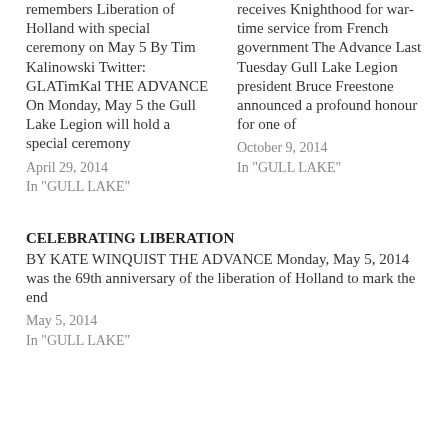remembers Liberation of Holland with special ceremony on May 5 By Tim Kalinowski Twitter: GLATimKal THE ADVANCE On Monday, May 5 the Gull Lake Legion will hold a special ceremony
April 29, 2014
In "GULL LAKE"
receives Knighthood for war-time service from French government The Advance Last Tuesday Gull Lake Legion president Bruce Freestone announced a profound honour for one of
October 9, 2014
In "GULL LAKE"
CELEBRATING LIBERATION
BY KATE WINQUIST THE ADVANCE Monday, May 5, 2014 was the 69th anniversary of the liberation of Holland to mark the end
May 5, 2014
In "GULL LAKE"